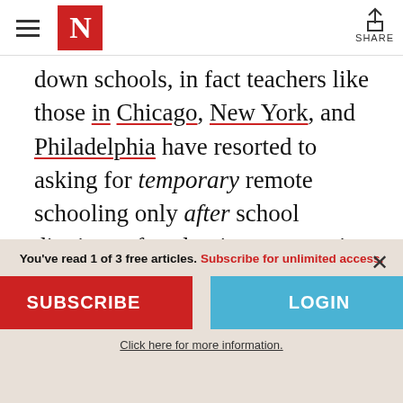The Nation — Navigation header with logo and share button
down schools, in fact teachers like those in Chicago, New York, and Philadelphia have resorted to asking for temporary remote schooling only after school districts refused to increase testing or improve ventilation and masking.
You've read 1 of 3 free articles. Subscribe for unlimited access.
SUBSCRIBE
LOGIN
Click here for more information.